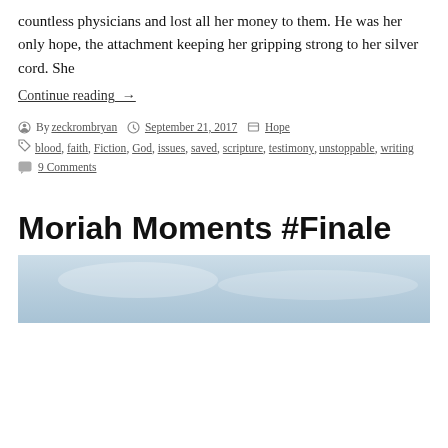countless physicians and lost all her money to them. He was her only hope, the attachment keeping her gripping strong to her silver cord. She
Continue reading →
By zeckrombryan  September 21, 2017  Hope
blood, faith, Fiction, God, issues, saved, scripture, testimony, unstoppable, writing
9 Comments
Moriah Moments #Finale
[Figure (photo): Light blue/grey sky photo at the bottom of the page]